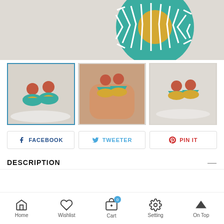[Figure (photo): Close-up of teal/turquoise circular ceramic piece with white geometric pattern and golden yellow center, on grey background]
[Figure (photo): Three thumbnail photos of handmade earrings: teal fan-shaped polymer clay earrings with red circle top and golden center piece]
FACEBOOK
TWEETER
PIN IT
DESCRIPTION
Home  Wishlist  Cart (0)  Setting  On Top